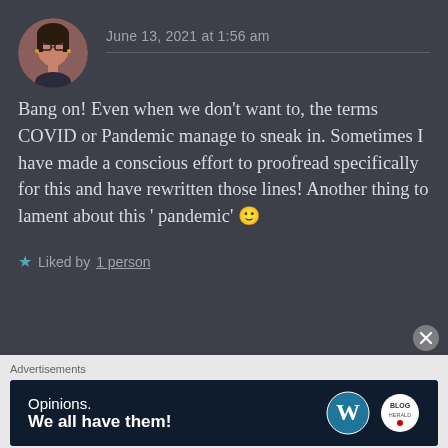[Figure (photo): Circular avatar photo of a woman with glasses and dark hair]
June 13, 2021 at 1:56 am
Bang on! Even when we don’t want to, the terms COVID or Pandemic manage to sneak in. Sometimes I have made a conscious effort to proofread specifically for this and have rewritten those lines! Another thing to lament about this ‘pandemic’ 🙂
★ Liked by 1 person
Advertisements
[Figure (screenshot): WordPress advertisement banner reading 'Opinions. We all have them!' with WordPress and blog logos]